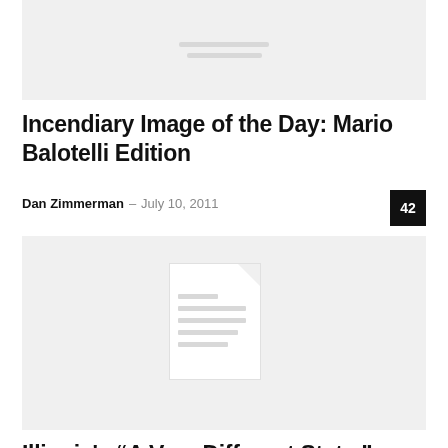[Figure (other): Placeholder image thumbnail with two gray lines in the center on a light gray background]
Incendiary Image of the Day: Mario Balotelli Edition
Dan Zimmerman - July 10, 2011  42
[Figure (other): Placeholder document icon with white page, folded corner, and gray horizontal lines on a light gray background]
Illinois's “A Very Different State,” Can't